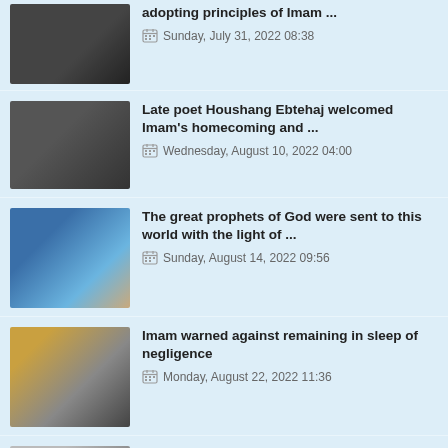adopting principles of Imam ...
Sunday, July 31, 2022 08:38
Late poet Houshang Ebtehaj welcomed Imam's homecoming and ...
Wednesday, August 10, 2022 04:00
The great prophets of God were sent to this world with the light of ...
Sunday, August 14, 2022 09:56
Imam warned against remaining in sleep of negligence
Monday, August 22, 2022 11:36
Imam Khomeini stressed need for adopting the traits and qualities of ...
Tuesday, August 02, 2022 10:54